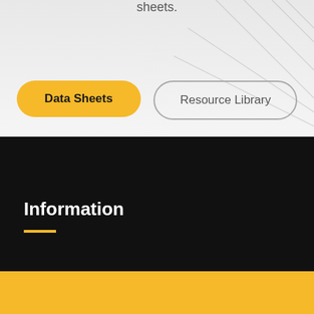sheets.
[Figure (illustration): Diagonal crossing lines pattern in light gray on the upper right background area]
Data Sheets
Resource Library
Information
We're here to answer your questions.
Contact Us Today